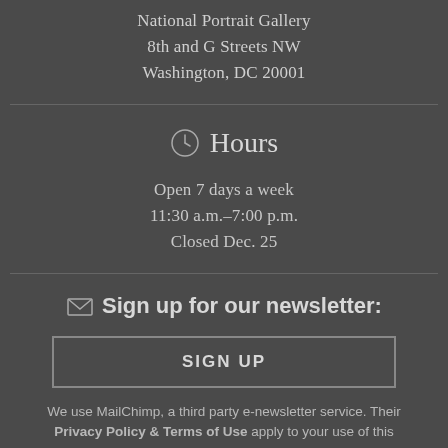National Portrait Gallery
8th and G Streets NW
Washington, DC 20001
Hours
Open 7 days a week
11:30 a.m.–7:00 p.m.
Closed Dec. 25
Sign up for our newsletter:
SIGN UP
We use MailChimp, a third party e-newsletter service. Their Privacy Policy & Terms of Use apply to your use of this